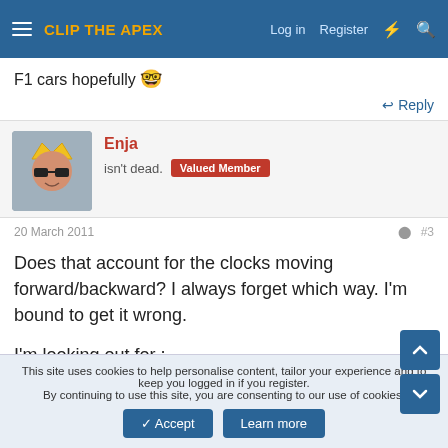CLIP THE APEX | Log in | Register
F1 cars hopefully 🤓
Reply
Enja
isn't dead. Valued Member
20 March 2011  #3
Does that account for the clocks moving forward/backward? I always forget which way. I'm bound to get it wrong.

I'm looking out for ;
This site uses cookies to help personalise content, tailor your experience and to keep you logged in if you register.
By continuing to use this site, you are consenting to our use of cookies.